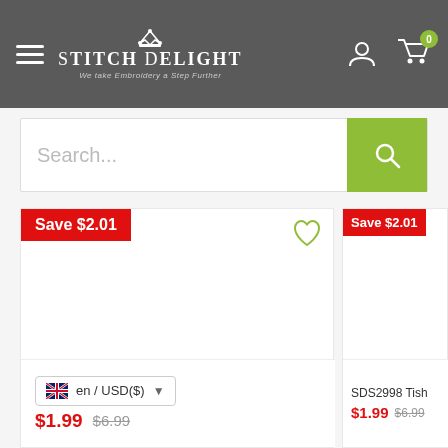[Figure (logo): StitchDelight logo with crown icon and tagline 'We take Embroidery a Step Further' on dark grey header bar with hamburger menu, user icon, and cart icon with badge '0']
Search...
Save $2.01
Save $2.01
SDS2998 Tish
en / USD($)
$1.99  $6.99
$1.99  $6.99